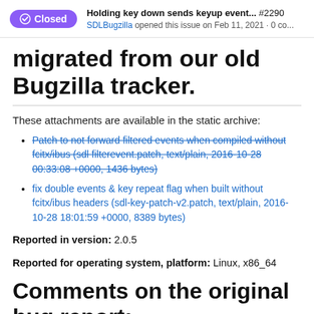Holding key down sends keyup event... #2290 SDLBugzilla opened this issue on Feb 11, 2021 · 0 co...
migrated from our old Bugzilla tracker.
These attachments are available in the static archive:
Patch to not forward filtered events when compiled without fcitx/ibus (sdl filterevent.patch, text/plain, 2016-10-28 00:33:08 +0000, 1436 bytes)
fix double events & key repeat flag when built without fcitx/ibus headers (sdl-key-patch-v2.patch, text/plain, 2016-10-28 18:01:59 +0000, 8389 bytes)
Reported in version: 2.0.5
Reported for operating system, platform: Linux, x86_64
Comments on the original bug report: